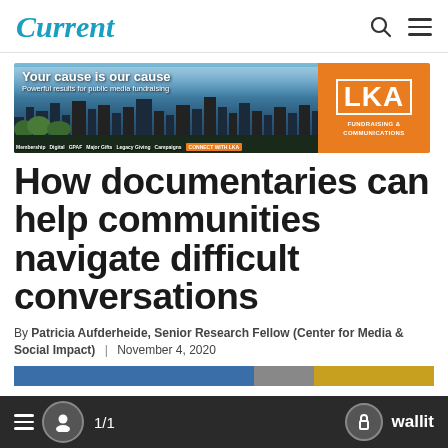Current
[Figure (infographic): LKA Fundraising & Communications advertisement banner. Left side shows a cityscape photo with text 'Your cause is our cause' and 'Powerful results for public media fundraising' with navigation links. Right side is orange with LKA logo and 'FUNDRAISING & COMMUNICATIONS'.]
How documentaries can help communities navigate difficult conversations
By Patricia Aufderheide, Senior Research Fellow (Center for Media & Social Impact) | November 4, 2020
1/1   wallit